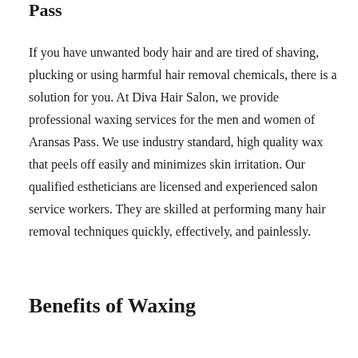Pass
If you have unwanted body hair and are tired of shaving, plucking or using harmful hair removal chemicals, there is a solution for you. At Diva Hair Salon, we provide professional waxing services for the men and women of Aransas Pass. We use industry standard, high quality wax that peels off easily and minimizes skin irritation. Our qualified estheticians are licensed and experienced salon service workers. They are skilled at performing many hair removal techniques quickly, effectively, and painlessly.
Benefits of Waxing